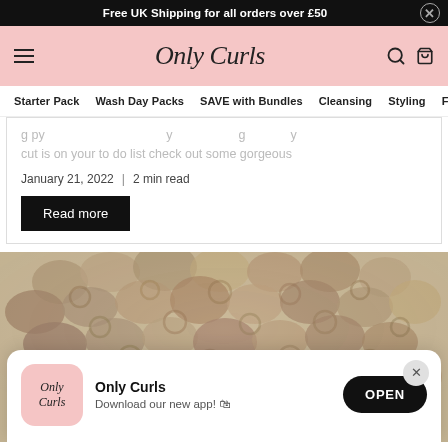Free UK Shipping for all orders over £50
[Figure (logo): Only Curls script logo on pink header with hamburger menu, search and bag icons]
Starter Pack | Wash Day Packs | SAVE with Bundles | Cleansing | Styling | Fra...
...g py ... y g y cut is on your to do list check out some gorgeous
January 21, 2022  |  2 min read
Read more
[Figure (photo): Top-down photo of a person with tight curly blonde/grey hair]
[Figure (screenshot): App download popup showing Only Curls logo, 'Only Curls' title, 'Download our new app!' subtitle, and OPEN button]